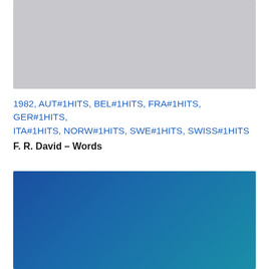[Figure (photo): Gray placeholder image area at top of page]
1982, AUT#1HITS, BEL#1HITS, FRA#1HITS, GER#1HITS, ITA#1HITS, NORW#1HITS, SWE#1HITS, SWISS#1HITS
F. R. David – Words
[Figure (photo): Blue-to-teal gradient image at bottom of page]